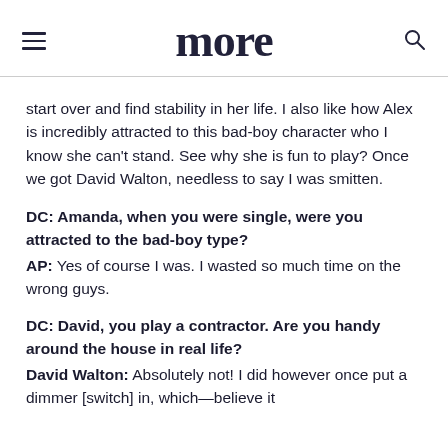more
start over and find stability in her life. I also like how Alex is incredibly attracted to this bad-boy character who I know she can’t stand. See why she is fun to play? Once we got David Walton, needless to say I was smitten.
DC: Amanda, when you were single, were you attracted to the bad-boy type?
AP: Yes of course I was. I wasted so much time on the wrong guys.
DC: David, you play a contractor. Are you handy around the house in real life?
David Walton: Absolutely not! I did however once put a dimmer [switch] in, which—believe it